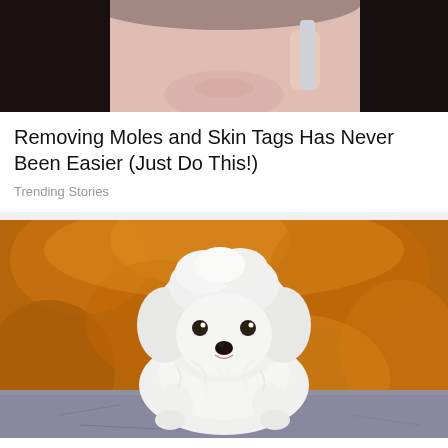[Figure (photo): Top portion of a woman's face with dark hair, partially cropped, holding something near her chin — advertisement image]
Removing Moles and Skin Tags Has Never Been Easier (Just Do This!)
Trending Stories
[Figure (photo): A small fluffy white Maltese puppy sitting on a grey stone surface with a blurred golden autumn bokeh background]
15 Best Dog Breeds for Seniors - No. 7